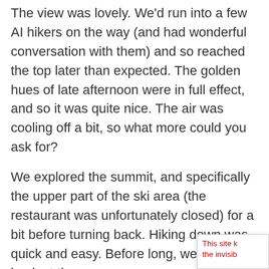The view was lovely. We'd run into a few AI hikers on the way (and had wonderful conversation with them) and so reached the top later than expected. The golden hues of late afternoon were in full effect, and so it was quite nice. The air was cooling off a bit, so what more could you ask for?
We explored the summit, and specifically the upper part of the ski area (the restaurant was unfortunately closed) for a bit before turning back. Hiking down was quick and easy. Before long, we were back at the car.
This site k the invisib